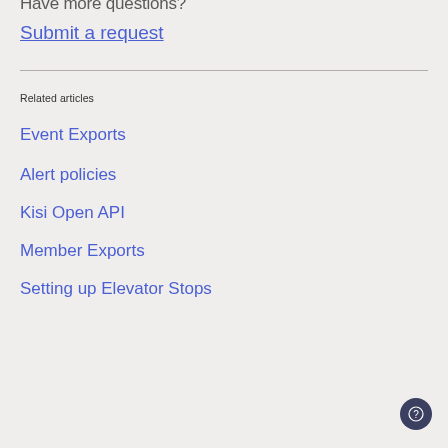Have more questions?
Submit a request
Related articles
Event Exports
Alert policies
Kisi Open API
Member Exports
Setting up Elevator Stops